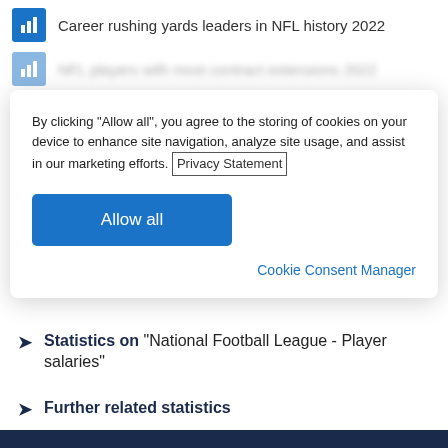Career rushing yards leaders in NFL history 2022
NFL players with most contract extensions 2022 [blurred/partially visible]
By clicking “Allow all”, you agree to the storing of cookies on your device to enhance site navigation, analyze site usage, and assist in our marketing efforts. Privacy Statement
Allow all
Cookie Consent Manager
Statistics on “National Football League - Player salaries”
Further related statistics